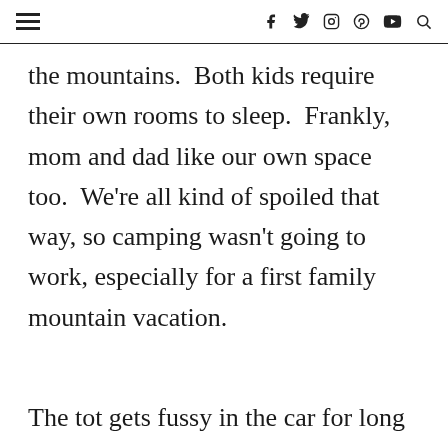≡  f  🐦  ⊙  ⊕  ▶  🔍
the mountains.  Both kids require their own rooms to sleep.  Frankly, mom and dad like our own space too.  We're all kind of spoiled that way, so camping wasn't going to work, especially for a first family mountain vacation.
The tot gets fussy in the car for long drives.  And, it takes at least a 6 hour drive from our home in Florida to get anywhere close to